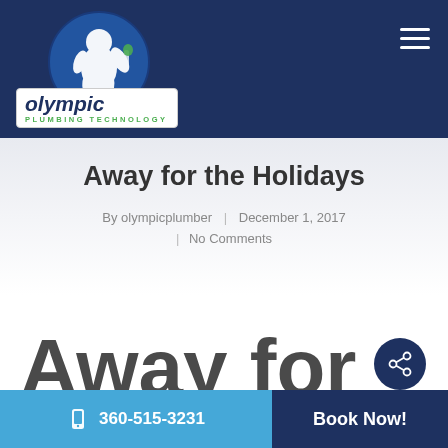[Figure (logo): Olympic Plumbing Technology logo with Bigfoot/Sasquatch silhouette on blue circular background above a white box with 'Olympic' in bold italic navy text and 'PLUMBING TECHNOLOGY' in small green caps]
Away for the Holidays
By olympicplumber | December 1, 2017 | No Comments
Away for
360-515-3231  Book Now!